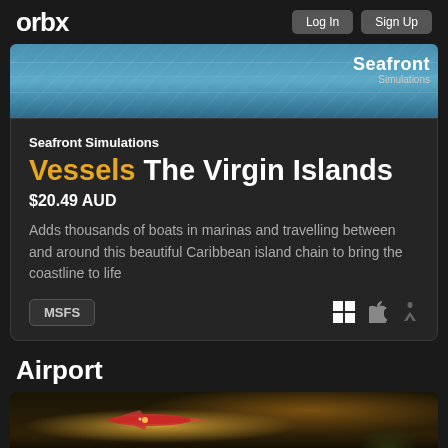orbx  Log In  Sign Up
[Figure (screenshot): Aerial view of Caribbean waters with boats, Seafront Simulations logo overlay]
Seafront Simulations
Vessels The Virgin Islands
$20.49 AUD
Adds thousands of boats in marinas and travelling between and around this beautiful Caribbean island chain to bring the coastline to life
MSFS
Airport
[Figure (photo): Aerial night/dusk photo showing a small plane flying over forested terrain with warm lighting]